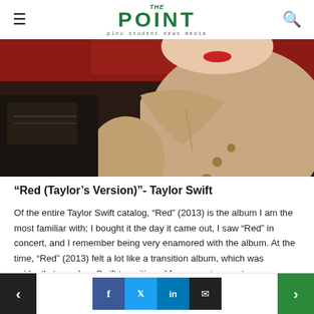THE POINT — plnu student news media
[Figure (photo): Close-up photo of a woman in a beige/tan coat with red lipstick, partially cropped, dark background]
“Red (Taylor’s Version)”- Taylor Swift
Of the entire Taylor Swift catalog, “Red” (2013) is the album I am the most familiar with; I bought it the day it came out, I saw “Red” in concert, and I remember being very enamored with the album. At the time, “Red” (2013) felt a lot like a transition album, which was evidently true when Swift transitioned from country-pop to conventional pop
< Facebook Twitter LinkedIn Email >